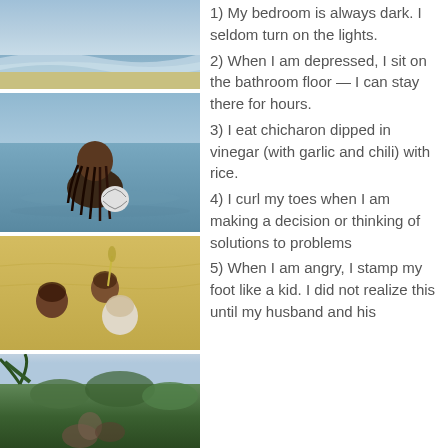[Figure (photo): Beach wave photo showing ocean waves and sandy shore]
[Figure (photo): Young woman with braided hair standing in ocean water holding a ball]
[Figure (photo): Three people buried in sand on a beach with only their heads visible]
[Figure (photo): Jungle or tropical forest hillside with palm trees and green vegetation]
1) My bedroom is always dark. I seldom turn on the lights.
2) When I am depressed, I sit on the bathroom floor — I can stay there for hours.
3) I eat chicharon dipped in vinegar (with garlic and chili) with rice.
4) I curl my toes when I am making a decision or thinking of solutions to problems
5) When I am angry, I stamp my foot like a kid. I did not realize this until my husband and his